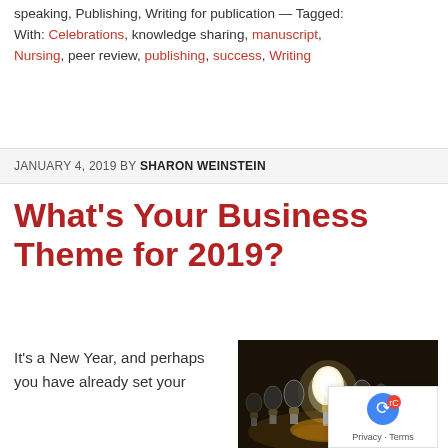speaking, Publishing, Writing for publication — Tagged: With: Celebrations, knowledge sharing, manuscript, Nursing, peer review, publishing, success, Writing
JANUARY 4, 2019 BY SHARON WEINSTEIN
What's Your Business Theme for 2019?
It's a New Year, and perhaps you have already set your
[Figure (photo): A row of incandescent light bulbs on a dark surface, with one glowing brightly in the center, surrounded by unlit bulbs. The image has dramatic dark background lighting.]